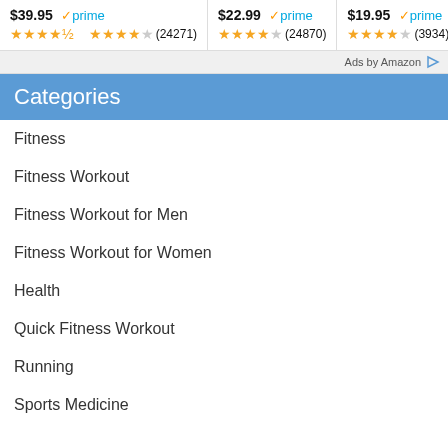$39.95 prime (24271)
$22.99 prime (24870)
$19.95 prime (3934)
Ads by Amazon
Categories
Fitness
Fitness Workout
Fitness Workout for Men
Fitness Workout for Women
Health
Quick Fitness Workout
Running
Sports Medicine